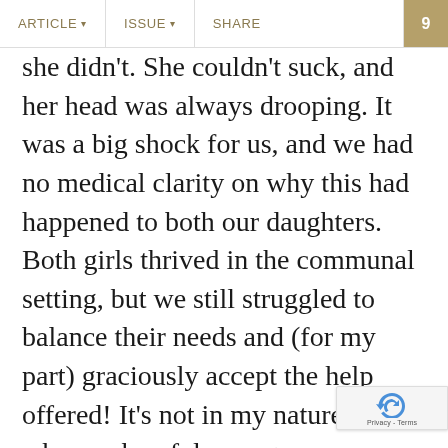ARTICLE ▾   ISSUE ▾   SHARE   9
she didn't. She couldn't suck, and her head was always drooping. It was a big shock for us, and we had no medical clarity on why this had happened to both our daughters. Both girls thrived in the communal setting, but we still struggled to balance their needs and (for my part) graciously accept the help offered! It's not in my nature, and when a cheerful young woman would show up to lend a han took a new kind of grace for me to s